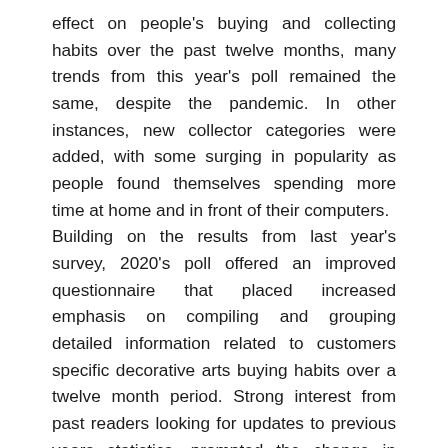effect on people's buying and collecting habits over the past twelve months, many trends from this year's poll remained the same, despite the pandemic. In other instances, new collector categories were added, with some surging in popularity as people found themselves spending more time at home and in front of their computers.
Building on the results from last year's survey, 2020's poll offered an improved questionnaire that placed increased emphasis on compiling and grouping detailed information related to customers specific decorative arts buying habits over a twelve month period. Strong interest from past readers looking for updates to previous years statistics, prompted the change in format construction of the survey to include